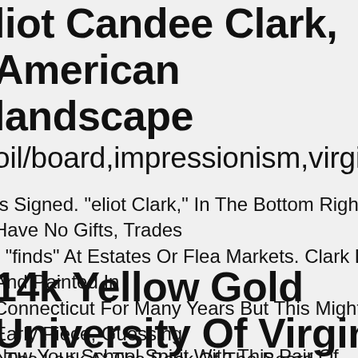Eliot Candee Clark, American landscape oil/board,impressionism,virginia,mus
Is Signed. "eliot Clark," In The Bottom Right. I Have No Gifts, Trades r "finds" At Estates Or Flea Markets. Clark Lived And Painted In Connecticut For Many Years But This Might Be A Early Piece, Guessing r The Look At The Back Of The Board.
14k Yellow Gold University Of Virginia Cuff Links
Now Your School Spirit With This Pair Of University Of Virginia Cuff Links. They Are Created From 14k Yellow Gold And Measures 15 Millimeters In Length. We Are A Certified Logoart Retailer And This Authentic Item Is Officially Licensed. It Is Crafted By Logoart Right Here The Usa.